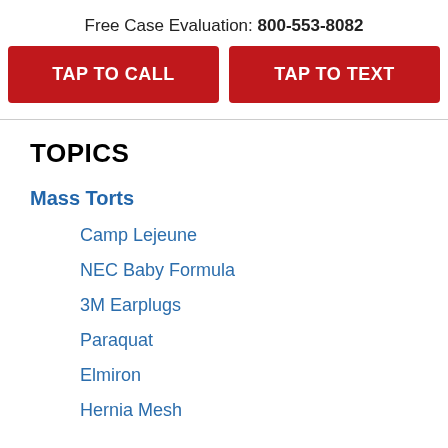Free Case Evaluation: 800-553-8082
TAP TO CALL
TAP TO TEXT
TOPICS
Mass Torts
Camp Lejeune
NEC Baby Formula
3M Earplugs
Paraquat
Elmiron
Hernia Mesh